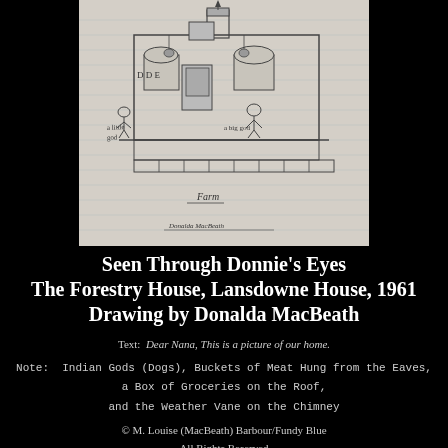[Figure (illustration): A child's pencil drawing on lined paper showing a house (the Forestry House at Lansdowne House, 1961). The drawing includes a building with a chimney/weather vane, figures labeled 'a little god' and 'a big god' (dogs), buckets hanging from eaves, a box of groceries on the roof, and text reading 'Farm' and a signature at the bottom.]
Seen Through Donnie's Eyes
The Forestry House, Lansdowne House, 1961
Drawing by Donalda MacBeath
Text:  Dear Nana, This is a picture of our home.

Note:  Indian Gods (Dogs), Buckets of Meat Hung from the Eaves,

a Box of Groceries on the Roof,

and the Weather Vane on the Chimney

© M. Louise (MacBeath) Barbour/Fundy Blue

All Rights Reserved